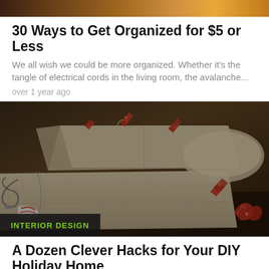[Figure (photo): Partial top image strip, warm orange/brown tones, cropped at top of page]
30 Ways to Get Organized for $5 or Less
We all wish we could be more organized. Whether it's the tangle of electrical cords in the living room, the avalanche...
over 1 year ago
[Figure (photo): Close-up photo of kraft paper wrapped gift boxes with red decorative tags and twine, with an INTERIOR DESIGN category badge overlay]
A Dozen Clever Hacks for Your DIY Holiday Home
You don't have to shop till you drop to make things merry...